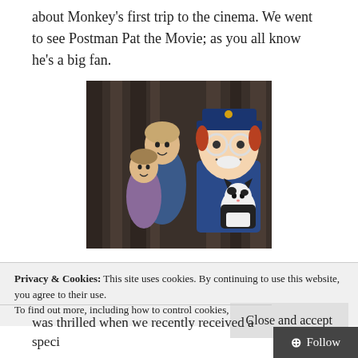about Monkey's first trip to the cinema. We went to see Postman Pat the Movie; as you all know he's a big fan.
[Figure (photo): A child and an adult woman posing with a Postman Pat character costume holding a black and white cat toy, against a dark curtain background.]
Privacy & Cookies: This site uses cookies. By continuing to use this website, you agree to their use.
To find out more, including how to control cookies, see here: Cookie Policy
Close and accept
was thrilled when we recently received a speci